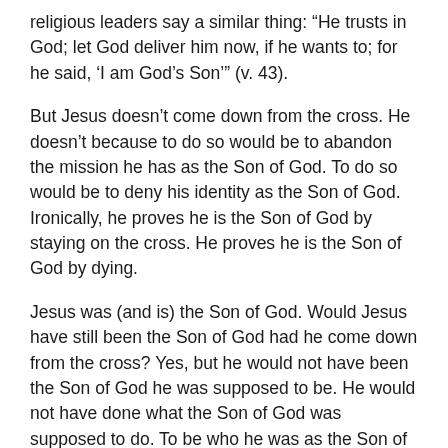religious leaders say a similar thing: “He trusts in God; let God deliver him now, if he wants to; for he said, ‘I am God’s Son’” (v. 43).
But Jesus doesn’t come down from the cross. He doesn’t because to do so would be to abandon the mission he has as the Son of God. To do so would be to deny his identity as the Son of God. Ironically, he proves he is the Son of God by staying on the cross. He proves he is the Son of God by dying.
Jesus was (and is) the Son of God. Would Jesus have still been the Son of God had he come down from the cross? Yes, but he would not have been the Son of God he was supposed to be. He would not have done what the Son of God was supposed to do. To be who he was as the Son of God, Jesus had to stay on the cross.
I think a lot these days—all days, really—about what it means to follow Jesus. When we trust in Jesus as our Savior, we commit to following him. We become Jesus’ sisters and brothers. We